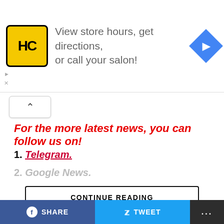[Figure (screenshot): Advertisement banner with HC logo and text 'View store hours, get directions, or call your salon!' with a blue navigation arrow icon]
For the more latest news, you can follow us on!
1. Telegram.
2. Google News.
CONTINUE READING
APPS
[Update August 18] Google Play
SHARE  TWEET  ...